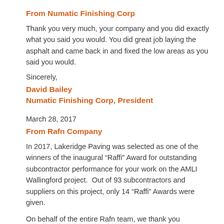From Numatic Finishing Corp
Thank you very much, your company and you did exactly what you said you would. You did great job laying the asphalt and came back in and fixed the low areas as you said you would.
Sincerely,
David Bailey
Numatic Finishing Corp, President
March 28, 2017
From Rafn Company
In 2017, Lakeridge Paving was selected as one of the winners of the inaugural “Raffi” Award for outstanding subcontractor performance for your work on the AMLI Wallingford project.  Out of 93 subcontractors and suppliers on this project, only 14 “Raffi” Awards were given.
On behalf of the entire Rafn team, we thank you